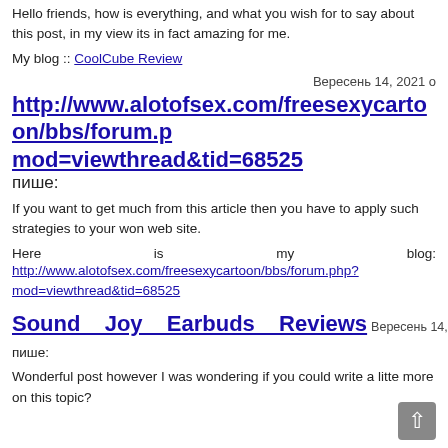Hello friends, how is everything, and what you wish for to say about this post, in my view its in fact amazing for me.
My blog :: CoolCube Review
Вересень 14, 2021 о
http://www.alotofsex.com/freesexycartoon/bbs/forum.php?mod=viewthread&tid=68525 пише:
If you want to get much from this article then you have to apply such strategies to your won web site.
Here is my blog: http://www.alotofsex.com/freesexycartoon/bbs/forum.php?mod=viewthread&tid=68525
Sound Joy Earbuds Reviews Вересень 14, 2021 о 18:32 пише:
Wonderful post however I was wondering if you could write a litte more on this topic?